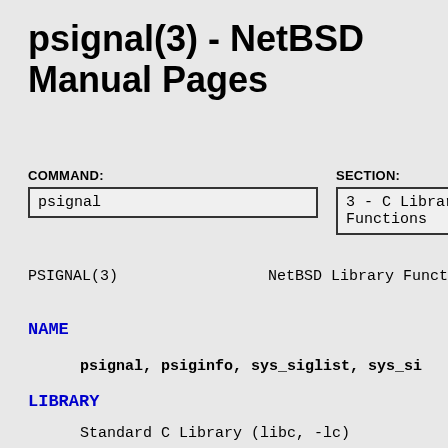psignal(3) - NetBSD Manual Pages
COMMAND: psignal | SECTION: 3 - C Library Functions
PSIGNAL(3)                    NetBSD Library Funct
NAME
psignal, psiginfo, sys_siglist, sys_si
LIBRARY
Standard C Library (libc, -lc)